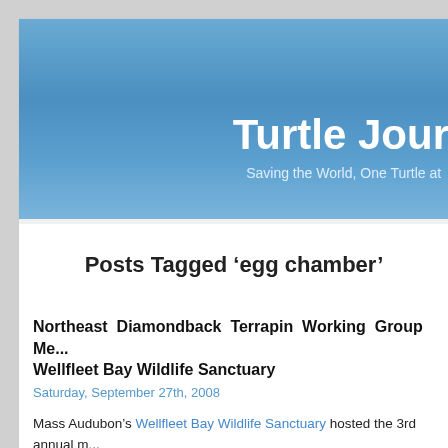Turtle Jour...
Saving the World, One Turtle at ...
Posts Tagged ‘egg chamber’
Northeast Diamondback Terrapin Working Group Me... Wellfleet Bay Wildlife Sanctuary
Saturday, September 27th, 2008
Mass Audubon’s Wellfleet Bay Wildlife Sanctuary hosted the 3rd annual m... the Northeast Diamondback Terrapin Working Group on September 27th... Prescott, sanctuary director, and Don Lewis, the Turtle Guy, welcomed more...